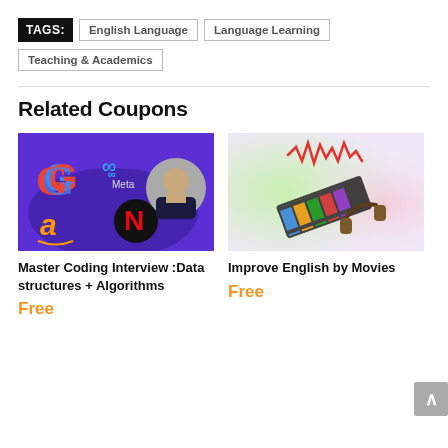TAGS: English Language | Language Learning | Teaching & Academics
Related Coupons
[Figure (illustration): Course thumbnail for Master Coding Interview: Data structures + Algorithms, showing Google, Meta, Amazon, Netflix logos and a person's photo on a purple background]
Master Coding Interview :Data structures + Algorithms
Free
[Figure (illustration): Course thumbnail for Improve English by Movies, showing film strip, headphones, and audio waveform on colorful background]
Improve English by Movies
Free